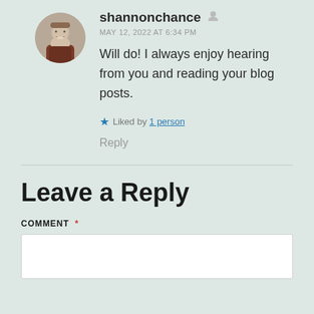shannonchance
MAY 12, 2022 AT 6:34 PM
Will do! I always enjoy hearing from you and reading your blog posts.
Liked by 1 person
Reply
Leave a Reply
COMMENT *